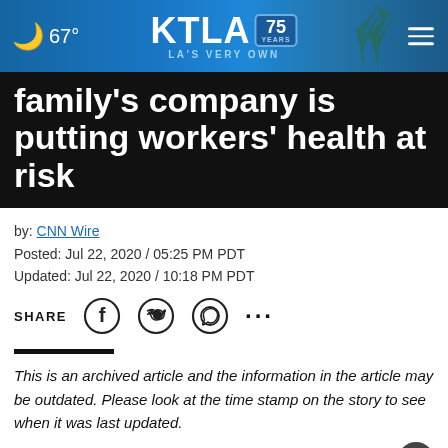KTLA 75 Years – LA's Very Own | 67°
family's company is putting workers' health at risk
by: CNN Wire
Posted: Jul 22, 2020 / 05:25 PM PDT
Updated: Jul 22, 2020 / 10:18 PM PDT
SHARE
This is an archived article and the information in the article may be outdated. Please look at the time stamp on the story to see when it was last updated.
Abigail Disney is once again taking the gloves off in her critique of the management of putting profit ahead of workers' health and safety
[Figure (screenshot): Advertisement banner: GET DOWN WITH YOUR BLOOD PRESSURE – ACT NOW, in partnership with AMA and ad source logos]